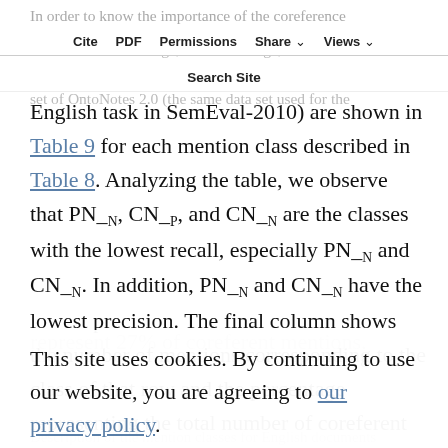In order to know the importance of the coreference links at an assessment stage, add knowledge, the partial and total scores of R_ElxCon on the test data set of OntoNotes 2.0 (the same data set used for the
Cite | PDF | Permissions | Share | Views | Search Site
English task in SemEval-2010) are shown in Table 9 for each mention class described in Table 8. Analyzing the table, we observe that PN_N, CN_P, and CN_N are the classes with the lowest recall, especially PN_N and CN_N. In addition, PN_N and CN_N have the lowest precision. The final column shows the number of mentions corresponding to the class of that row and the percentage representing the total number of coreferent mentions. Note that these three classes together represent 27% of coreferent mentions.
This site uses cookies. By continuing to use our website, you are agreeing to our privacy policy. Accept
Description of the mention classes for English documents